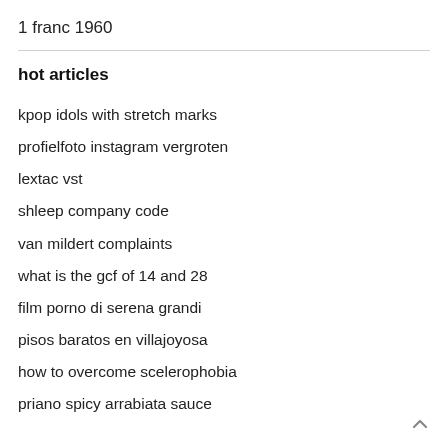1 franc 1960
hot articles
kpop idols with stretch marks
profielfoto instagram vergroten
lextac vst
shleep company code
van mildert complaints
what is the gcf of 14 and 28
film porno di serena grandi
pisos baratos en villajoyosa
how to overcome scelerophobia
priano spicy arrabiata sauce